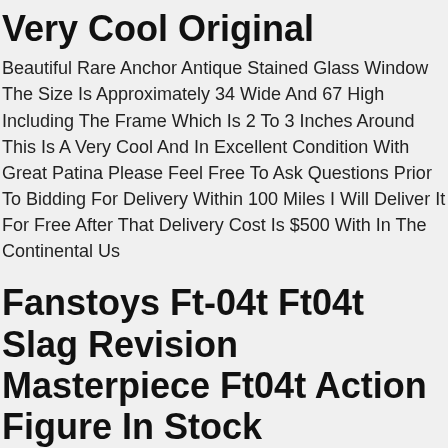Very Cool Original
Beautiful Rare Anchor Antique Stained Glass Window The Size Is Approximately 34 Wide And 67 High Including The Frame Which Is 2 To 3 Inches Around This Is A Very Cool And In Excellent Condition With Great Patina Please Feel Free To Ask Questions Prior To Bidding For Delivery Within 100 Miles I Will Deliver It For Free After That Delivery Cost Is $500 With In The Continental Us
Fanstoys Ft-04t Ft04t Slag Revision Masterpiece Ft04t Action Figure In Stock
Sealing Bagtransport Casevulnerable Mark. We'll Do Our Best To Resolve The Problem! Satisfied With Our Service. If You Are Unhappy With The Item Or Our Service. The Item's Color May Be Slightly Different From The Pictures.